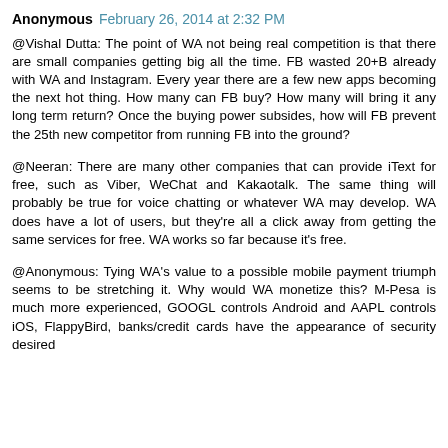Anonymous  February 26, 2014 at 2:32 PM
@Vishal Dutta: The point of WA not being real competition is that there are small companies getting big all the time. FB wasted 20+B already with WA and Instagram. Every year there are a few new apps becoming the next hot thing. How many can FB buy? How many will bring it any long term return? Once the buying power subsides, how will FB prevent the 25th new competitor from running FB into the ground?
@Neeran: There are many other companies that can provide iText for free, such as Viber, WeChat and Kakaotalk. The same thing will probably be true for voice chatting or whatever WA may develop. WA does have a lot of users, but they're all a click away from getting the same services for free. WA works so far because it's free.
@Anonymous: Tying WA's value to a possible mobile payment triumph seems to be stretching it. Why would WA monetize this? M-Pesa is much more experienced, GOOGL controls Android and AAPL controls iOS, FlappyBird, banks/credit cards have the appearance of security desired